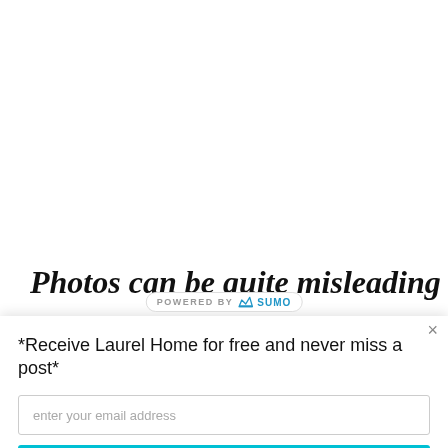[Figure (screenshot): White background area at top of page, partially visible blog content area]
Photos can be quite misleading
[Figure (logo): POWERED BY SUMO badge with crown logo]
*Receive Laurel Home for free and never miss a post*
enter your email address
YES! GIMME THE SUBSCRIPTION!